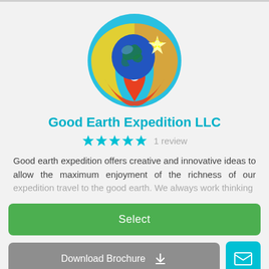[Figure (logo): Good Earth Expedition LLC circular logo with a blue globe, orange and yellow swoosh/ring, and an orange location pin at the bottom, on a cyan/blue background circle]
Good Earth Expedition LLC
★★★★★  1 review
Good earth expedition offers creative and innovative ideas to allow the maximum enjoyment of the richness of our expedition travel to the good earth. We always work thinking
Select
Download Brochure